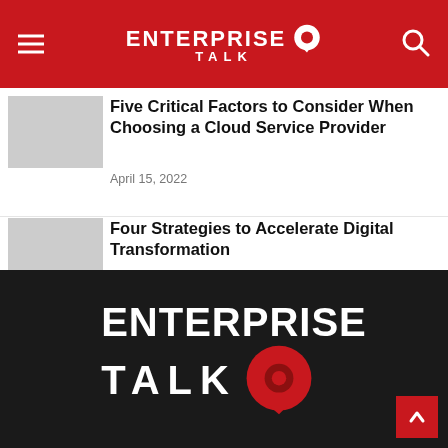ENTERPRISE TALK
Five Critical Factors to Consider When Choosing a Cloud Service Provider
April 15, 2022
Four Strategies to Accelerate Digital Transformation
May 20, 2022
[Figure (logo): Enterprise Talk logo on dark background — white bold text ENTERPRISE TALK with red speech bubble icon]